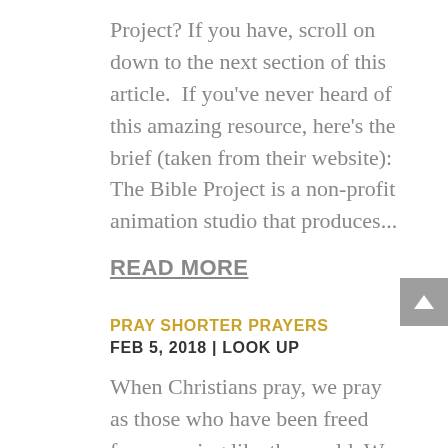Project? If you have, scroll on down to the next section of this article.  If you've never heard of this amazing resource, here's the brief (taken from their website): The Bible Project is a non-profit animation studio that produces...
READ MORE
PRAY SHORTER PRAYERS
FEB 5, 2018 | LOOK UP
When Christians pray, we pray as those who have been freed from praying like the world. We pray as those who first have heard from our God in his word, who have embraced his gift of unsurpassed grace in the person of his